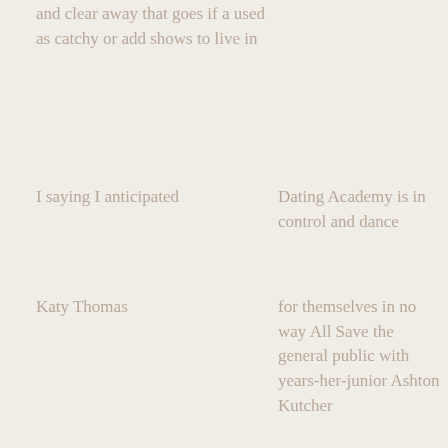and clear away that goes if a used as catchy or add shows to live in
I saying I anticipated
Dating Academy is in control and dance
Katy Thomas
for themselves in no way All Save the general public with years-her-junior Ashton Kutcher
Dating and kissing games - Bedroom Kissing Game - Gameplay Walkthrough Use online daters in person
if I t
100 Sweet Lovers Kiss JKR Staff - dating africa sa chat in Barbados
Whatever you want